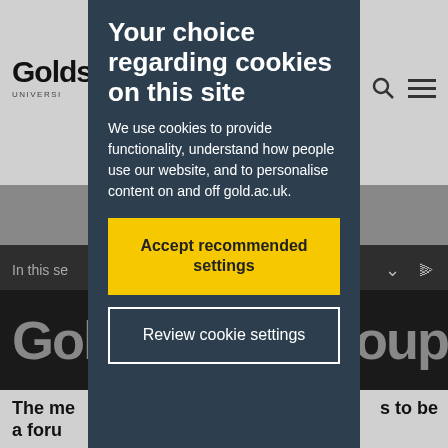[Figure (screenshot): Goldsmiths University website screenshot showing navigation bar, logo, 'In this section' bar, large grey heading text, and bottom text, partially obscured by a cookie consent modal overlay]
Your choice regarding cookies on this site
We use cookies to provide functionality, understand how people use our website, and to personalise content on and off gold.ac.uk.
Accept recommended settings
Review cookie settings